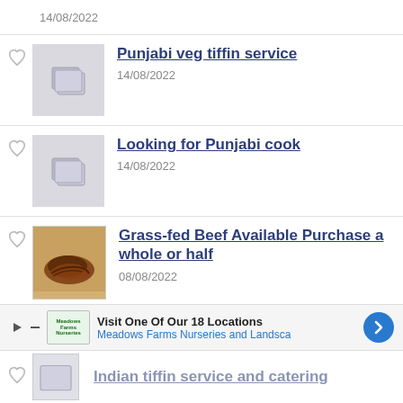14/08/2022
Punjabi veg tiffin service
14/08/2022
Looking for Punjabi cook
14/08/2022
Grass-fed Beef Available Purchase a whole or half
08/08/2022
Visit One Of Our 18 Locations
Meadows Farms Nurseries and Landsca
Indian tiffin service and catering